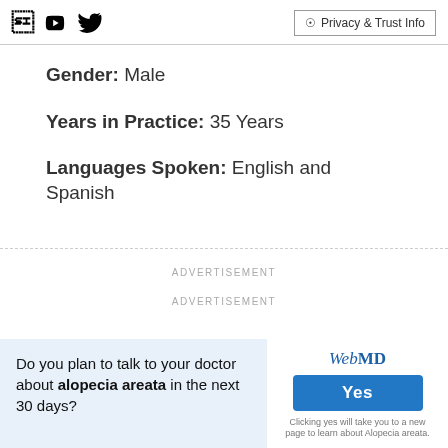Facebook Twitter | Privacy & Trust Info
Gender: Male
Years in Practice: 35 Years
Languages Spoken: English and Spanish
ADVERTISEMENT
ADVERTISEMENT
Do you plan to talk to your doctor about alopecia areata in the next 30 days?
WebMD Yes Clicking yes will take you to a new page to learn about Alopecia areata.